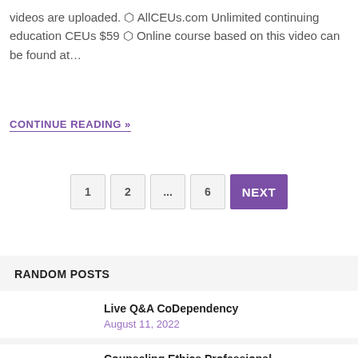videos are uploaded. ⬡ AllCEUs.com Unlimited continuing education CEUs $59 ⬡ Online course based on this video can be found at…
CONTINUE READING »
1 2 ... 6 NEXT
RANDOM POSTS
Live Q&A CoDependency
August 11, 2022
Counseling Ethics Professional Development